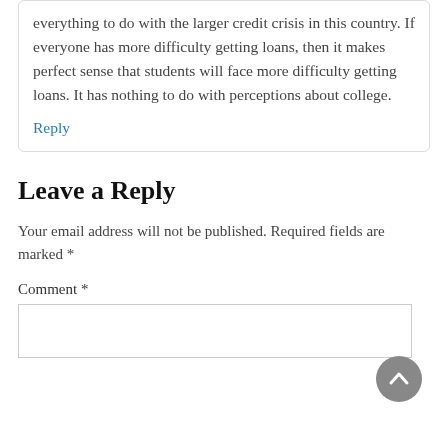everything to do with the larger credit crisis in this country. If everyone has more difficulty getting loans, then it makes perfect sense that students will face more difficulty getting loans. It has nothing to do with perceptions about college.
Reply
Leave a Reply
Your email address will not be published. Required fields are marked *
Comment *